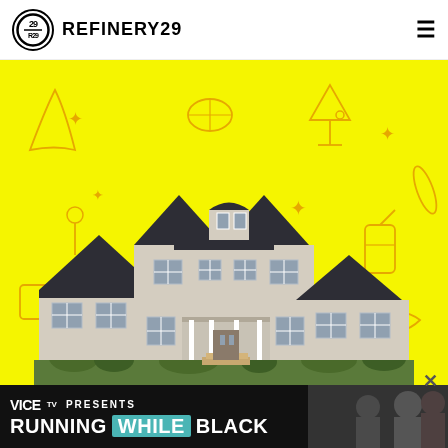REFINERY29
[Figure (illustration): A large two-story suburban house with gray siding and dark roof, centered on a bright yellow background decorated with orange outline illustrations of fashion/lifestyle items (skirt, lemon, cocktails, scissors, sparkles, etc.)]
[Figure (screenshot): Advertisement banner: VICE TV Presents RUNNING WHILE BLACK, with people in the background on a dark/black background]